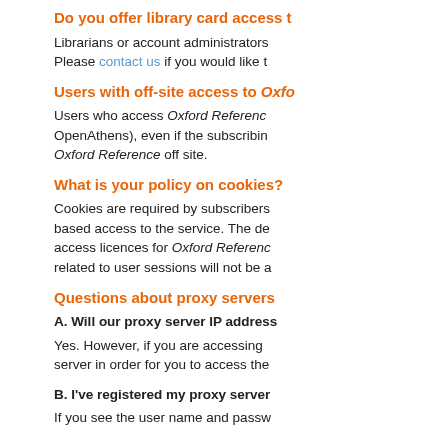Do you offer library card access t…
Librarians or account administrators… Please contact us if you would like t…
Users with off-site access to Oxfo…
Users who access Oxford Referenc… OpenAthens), even if the subscribin… Oxford Reference off site.
What is your policy on cookies?
Cookies are required by subscribers… based access to the service. The de… access licences for Oxford Referenc… related to user sessions will not be a…
Questions about proxy servers
A. Will our proxy server IP address…
Yes. However, if you are accessing… server in order for you to access the…
B. I've registered my proxy server…
If you see the user name and passw…